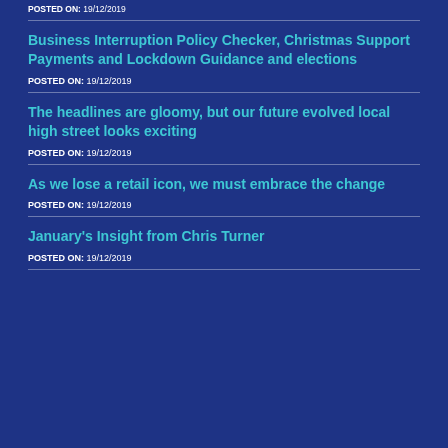POSTED ON: 19/12/2019
Business Interruption Policy Checker, Christmas Support Payments and Lockdown Guidance and elections
POSTED ON: 19/12/2019
The headlines are gloomy, but our future evolved local high street looks exciting
POSTED ON: 19/12/2019
As we lose a retail icon, we must embrace the change
POSTED ON: 19/12/2019
January's Insight from Chris Turner
POSTED ON: 19/12/2019